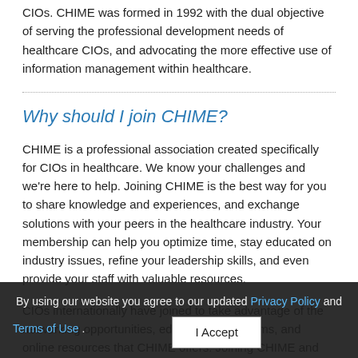CIOs. CHIME was formed in 1992 with the dual objective of serving the professional development needs of healthcare CIOs, and advocating the more effective use of information management within healthcare.
Why should I join CHIME?
CHIME is a professional association created specifically for CIOs in healthcare. We know your challenges and we’re here to help. Joining CHIME is the best way for you to share knowledge and experiences, and exchange solutions with your peers in the healthcare industry. Your membership can help you optimize time, stay educated on industry issues, refine your leadership skills, and even provide your staff with valuable resources.
CIOs internationally have joined to take advantage of the networking opportunities, educational programs, and online resources that CHIME offers. Joining CHIME and connecting with your peers is an opportunity to collaborate on a variety of issues facing the healthcare IT industry across the
By using our website you agree to our updated Privacy Policy and Terms of Use. I Accept